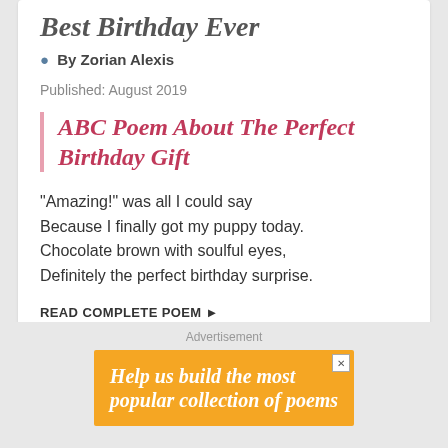Best Birthday Ever
By Zorian Alexis
Published: August 2019
ABC Poem About The Perfect Birthday Gift
"Amazing!" was all I could say
Because I finally got my puppy today.
Chocolate brown with soulful eyes,
Definitely the perfect birthday surprise.
READ COMPLETE POEM ▶
Advertisement
Help us build the most popular collection of poems